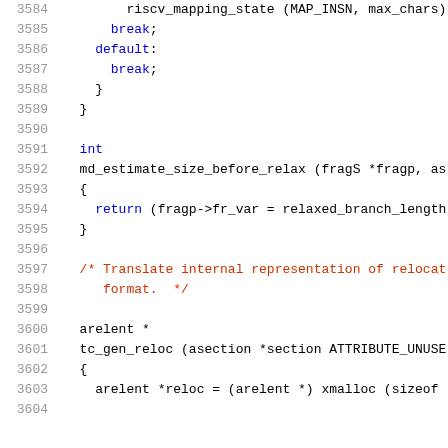Source code listing lines 3584-3604 of a RISC-V assembler C file
3584    riscv_mapping_state (MAP_INSN, max_chars)
3585      break;
3586    default:
3587      break;
3588    }
3589  }
3590
3591  int
3592  md_estimate_size_before_relax (fragS *fragp, as
3593  {
3594    return (fragp->fr_var = relaxed_branch_length
3595  }
3596
3597  /* Translate internal representation of relocat
3598     format.  */
3599
3600  arelent *
3601  tc_gen_reloc (asection *section ATTRIBUTE_UNUSE
3602  {
3603    arelent *reloc = (arelent *) xmalloc (sizeof
3604